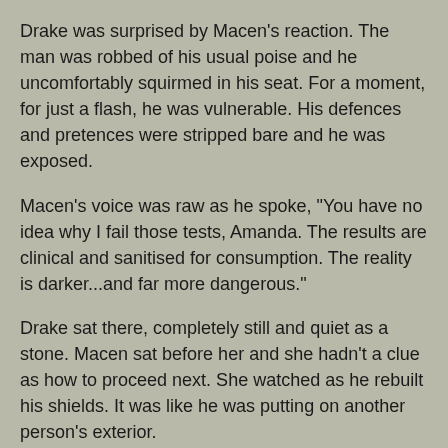Drake was surprised by Macen's reaction. The man was robbed of his usual poise and he uncomfortably squirmed in his seat. For a moment, for just a flash, he was vulnerable. His defences and pretences were stripped bare and he was exposed.
Macen's voice was raw as he spoke, "You have no idea why I fail those tests, Amanda. The results are clinical and sanitised for consumption. The reality is darker...and far more dangerous."
Drake sat there, completely still and quiet as a stone. Macen sat before her and she hadn't a clue as how to proceed next. She watched as he rebuilt his shields. It was like he was putting on another person's exterior.
Drake opened her mouth but Macen curtly cut her off, "Whatever platitude you're about to recite, don't."
"To be frank," Drake opted to go with unrestrained honesty, "I'm not sure of what to discuss next."
"Finish your briefing." Macen commanded.